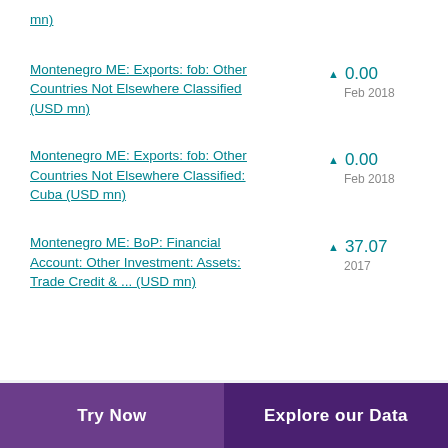mn)
Montenegro ME: Exports: fob: Other Countries Not Elsewhere Classified (USD mn)
▲ 0.00
Feb 2018
Montenegro ME: Exports: fob: Other Countries Not Elsewhere Classified: Cuba (USD mn)
▲ 0.00
Feb 2018
Montenegro ME: BoP: Financial Account: Other Investment: Assets: Trade Credit & ... (USD mn)
▲ 37.07
2017
Try Now | Explore our Data